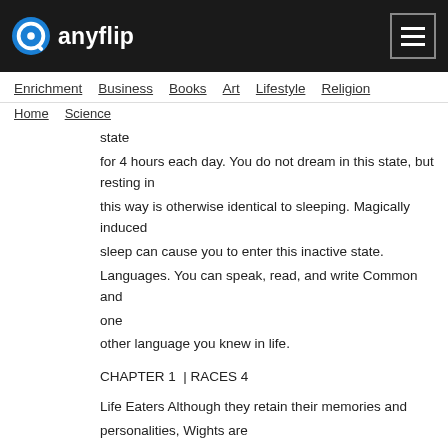anyflip
Enrichment  Business  Books  Art  Lifestyle  Religion
Home  Science
state
for 4 hours each day. You do not dream in this state, but resting in
this way is otherwise identical to sleeping. Magically induced sleep can cause you to enter this inactive state.
Languages. You can speak, read, and write Common and one
other language you knew in life.
CHAPTER 1  |  RACES 4
Life Eaters Although they retain their memories and personalities, Wights are
only created from evil and vain humans, so they will remain evil
Neither dead nor alive, a wight exists in a transitional state